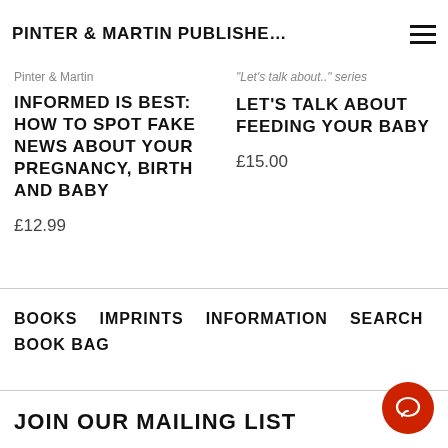PINTER & MARTIN PUBLISHE…
[Figure (screenshot): Book cover images strip at top — left side shows a pink/salmon book cover, right side shows a teal/mint book cover with text 'Amy Brown']
Pinter & Martin
INFORMED IS BEST: HOW TO SPOT FAKE NEWS ABOUT YOUR PREGNANCY, BIRTH AND BABY
£12.99
"Let's talk about.." series
LET'S TALK ABOUT FEEDING YOUR BABY
£15.00
BOOKS
IMPRINTS
INFORMATION
SEARCH
BOOK BAG
JOIN OUR MAILING LIST